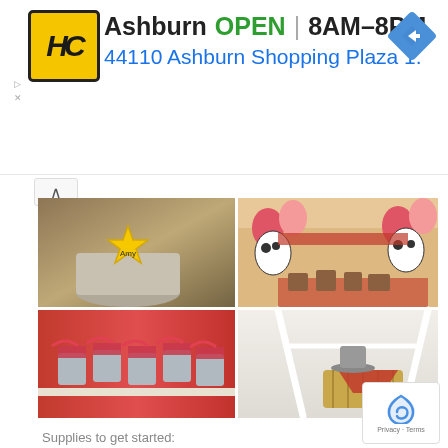[Figure (screenshot): Advertisement banner for HC (Hardware store) in Ashburn. Shows HC logo (yellow/black), store name, OPEN status, hours 8AM-8PM, address 44110 Ashburn Shopping Plaza 1., and a navigation icon.]
[Figure (photo): A 2x2 grid of party photos showing: top-left - a yellow sheriff star badge labeled 'Amy' on a brown bag in a metal bucket; top-right - a cowboy/western party decoration table with red balloons, cow-print balloons, and a lattice backdrop; bottom-left - small metal buckets filled with red gingham wrapped items on a shelf; bottom-right - a hay bale with a bandana on a white A-frame stand.]
Supplies to get started:
Toy Story Party Decorations
18. Super Soccer Birthday Party